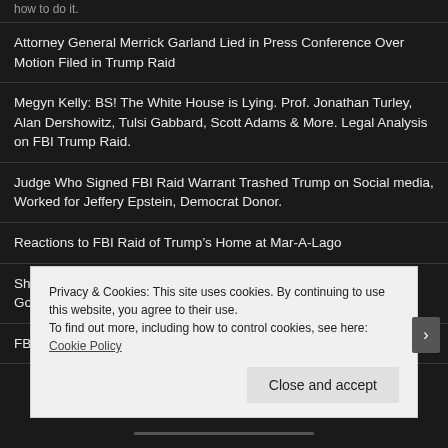how to do it.
Attorney General Merrick Garland Lied in Press Conference Over Motion Filed in Trump Raid
Megyn Kelly: BS! The White House is Lying. Prof. Jonathan Turley, Alan Dershowitz, Tulsi Gabbard, Scott Adams & More. Legal Analysis on FBI Trump Raid.
Judge Who Signed FBI Raid Warrant Trashed Trump on Social media, Worked for Jeffery Epstein, Democrat Donor.
Reactions to FBI Raid of Trump’s Home at Mar-A-Lago
Sharyl Attkisson Posts Timeline of FBI/DoJ Surveillance Abuses Going Back to 2009
FBI meddling in third election in a row
Privacy & Cookies: This site uses cookies. By continuing to use this website, you agree to their use.
To find out more, including how to control cookies, see here: Cookie Policy
Close and accept